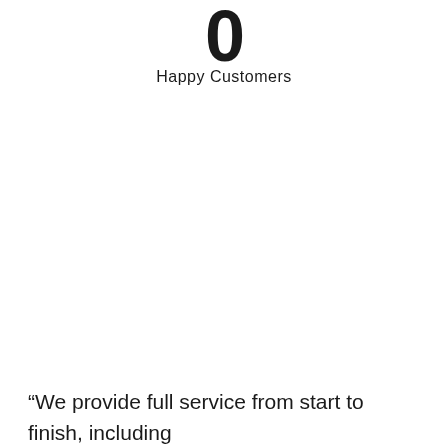0
Happy Customers
“We provide full service from start to finish, including